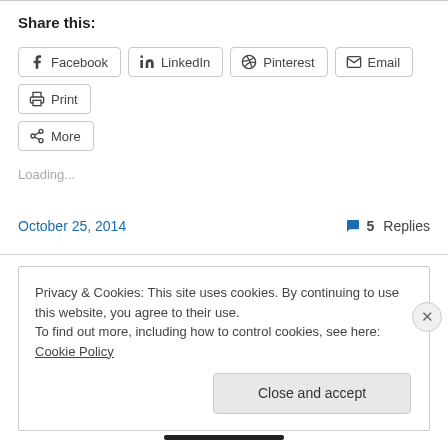Share this:
Facebook
LinkedIn
Pinterest
Email
Print
More
Loading...
October 25, 2014
5 Replies
Privacy & Cookies: This site uses cookies. By continuing to use this website, you agree to their use.
To find out more, including how to control cookies, see here: Cookie Policy
Close and accept